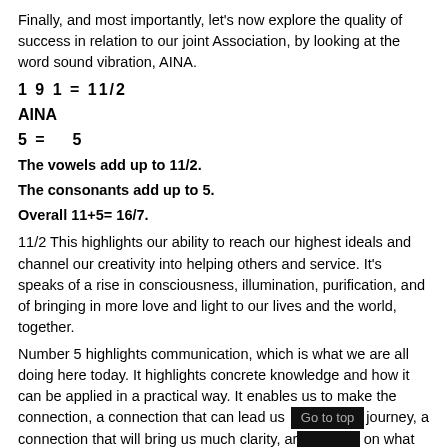Finally, and most importantly, let's now explore the quality of success in relation to our joint Association, by looking at the word sound vibration, AINA.
The vowels add up to 11/2.
The consonants add up to 5.
Overall 11+5= 16/7.
11/2 This highlights our ability to reach our highest ideals and channel our creativity into helping others and service. It's speaks of a rise in consciousness, illumination, purification, and of bringing in more love and light to our lives and the world, together.
Number 5 highlights communication, which is what we are all doing here today. It highlights concrete knowledge and how it can be applied in a practical way. It enables us to make the connection, a connection that can lead us [Go to top] journey, a connection that will bring us much clarity, ar... on what we've learn to